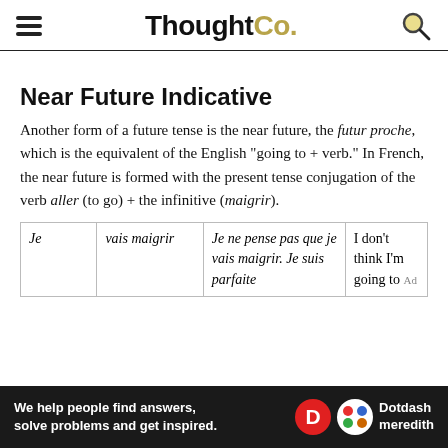ThoughtCo.
Near Future Indicative
Another form of a future tense is the near future, the futur proche, which is the equivalent of the English "going to + verb." In French, the near future is formed with the present tense conjugation of the verb aller (to go) + the infinitive (maigrir).
| Je | vais maigrir | Je ne pense pas que je vais maigrir. Je suis parfaite | I don't think I'm going to |
We help people find answers, solve problems and get inspired.